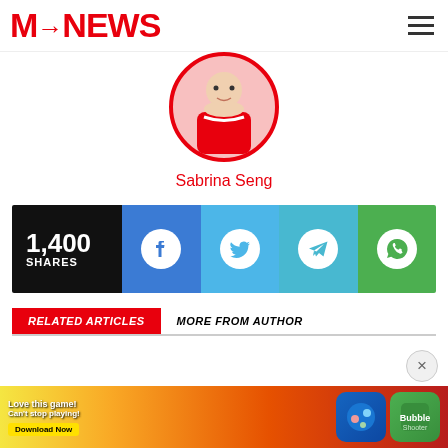MSNEWS [logo with hamburger menu]
[Figure (illustration): Circular avatar of author Sabrina Seng with red border, showing illustrated figure with red scarf]
Sabrina Seng
[Figure (infographic): Share bar showing 1,400 SHARES with social media buttons: Facebook, Twitter, Telegram, WhatsApp]
RELATED ARTICLES   MORE FROM AUTHOR
[Figure (screenshot): Advertisement banner: 'Love this game! Can't stop playing! Download Now' with game icons]